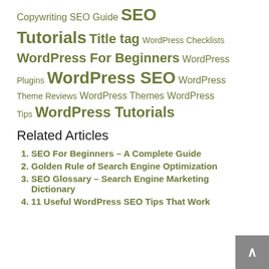Copywriting SEO Guide SEO Tutorials Title tag WordPress Checklists WordPress For Beginners WordPress Plugins WordPress SEO WordPress Theme Reviews WordPress Themes WordPress Tips WordPress Tutorials
Related Articles
SEO For Beginners – A Complete Guide
Golden Rule of Search Engine Optimization
SEO Glossary – Search Engine Marketing Dictionary
11 Useful WordPress SEO Tips That Work